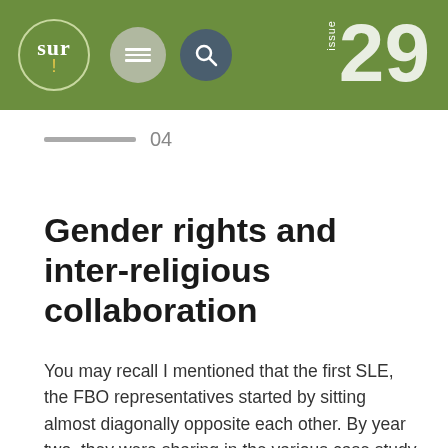[Figure (logo): Sur journal logo with circular border, hamburger menu icon, and search icon in green header bar, with issue number 29 on the right]
04
Gender rights and inter-religious collaboration
You may recall I mentioned that the first SLE, the FBO representatives started by sitting almost diagonally opposite each other. By year two, they were sharing in the various case study discussions that their respective organizations had initiated conversations